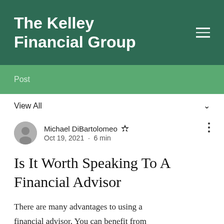The Kelley Financial Group
Post
View All
Michael DiBartolomeo  Oct 19, 2021 · 6 min
Is It Worth Speaking To A Financial Advisor
There are many advantages to using a financial advisor. You can benefit from their knowledge, experience, behavior